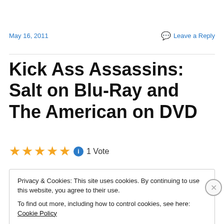May 16, 2011
Leave a Reply
Kick Ass Assassins: Salt on Blu-Ray and The American on DVD
★★★★★ ℹ 1 Vote
Privacy & Cookies: This site uses cookies. By continuing to use this website, you agree to their use.
To find out more, including how to control cookies, see here: Cookie Policy